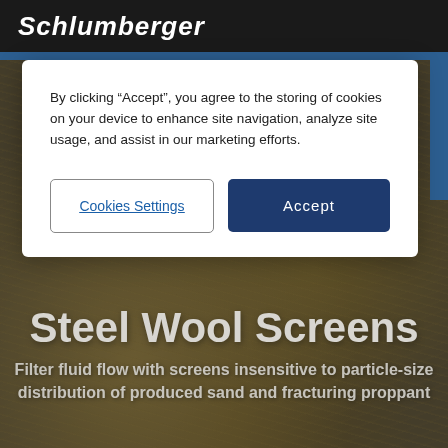Schlumberger
[Figure (photo): Dark metallic background showing steel wool screens — interwoven metallic mesh and mechanical components in dark gold/bronze tones]
By clicking “Accept”, you agree to the storing of cookies on your device to enhance site navigation, analyze site usage, and assist in our marketing efforts.
Cookies Settings
Accept
Steel Wool Screens
Filter fluid flow with screens insensitive to particle-size distribution of produced sand and fracturing proppant